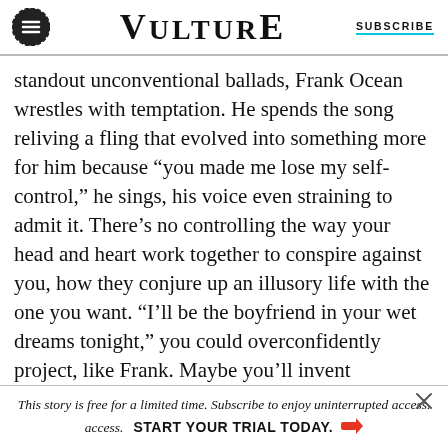VULTURE | SUBSCRIBE
standout unconventional ballads, Frank Ocean wrestles with temptation. He spends the song reliving a fling that evolved into something more for him because “you made me lose my self-control,” he sings, his voice even straining to admit it. There’s no controlling the way your head and heart work together to conspire against you, how they conjure up an illusory life with the one you want. “I’ll be the boyfriend in your wet dreams tonight,” you could overconfidently project, like Frank. Maybe you’ll invent delusions to convince yourself it doesn’t have
This story is free for a limited time. Subscribe to enjoy uninterrupted access. START YOUR TRIAL TODAY.